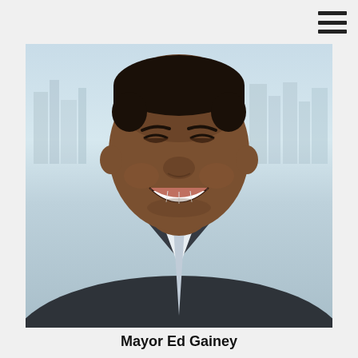[Figure (photo): Professional headshot of Mayor Ed Gainey, a smiling Black man in a dark plaid suit with white shirt and light gray tie, photographed against a blurred city skyline background]
Mayor Ed Gainey